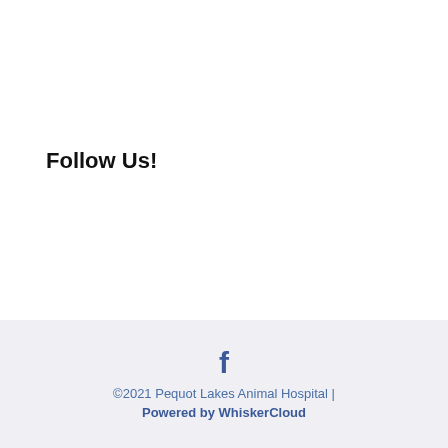Follow Us!
[Figure (logo): Facebook button with dark blue circle containing white 'f' icon and 'Facebook' label in white, on a blue (#3b5998) rounded rectangle background]
©2021 Pequot Lakes Animal Hospital | Powered by WhiskerCloud